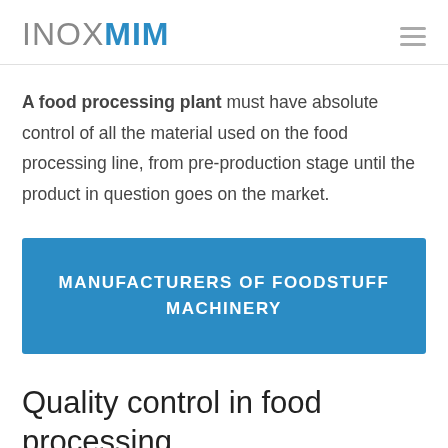INOXMIM
A food processing plant must have absolute control of all the material used on the food processing line, from pre-production stage until the product in question goes on the market.
MANUFACTURERS OF FOODSTUFF MACHINERY
Quality control in food processing plants